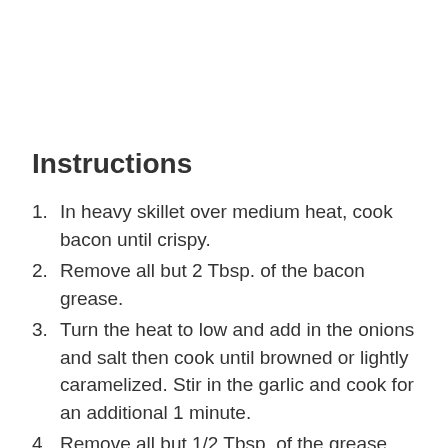Instructions
In heavy skillet over medium heat, cook bacon until crispy.
Remove all but 2 Tbsp. of the bacon grease.
Turn the heat to low and add in the onions and salt then cook until browned or lightly caramelized. Stir in the garlic and cook for an additional 1 minute.
Remove all but 1/2 Tbsp. of the grease.
Add in brown sugar, cider vinegar, black pepper, cayenne pepper, cumin, and